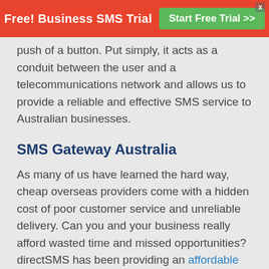Free! Business SMS Trial  Start Free Trial >>
push of a button. Put simply, it acts as a conduit between the user and a telecommunications network and allows us to provide a reliable and effective SMS service to Australian businesses.
SMS Gateway Australia
As many of us have learned the hard way, cheap overseas providers come with a hidden cost of poor customer service and unreliable delivery. Can you and your business really afford wasted time and missed opportunities? directSMS has been providing an affordable SMS service in Australia since 2001. We’re based in Sydney and are relied on to deliver a quality SMS service to thousands of businesses, large and small. Your data stays in Australia ensuring you are in